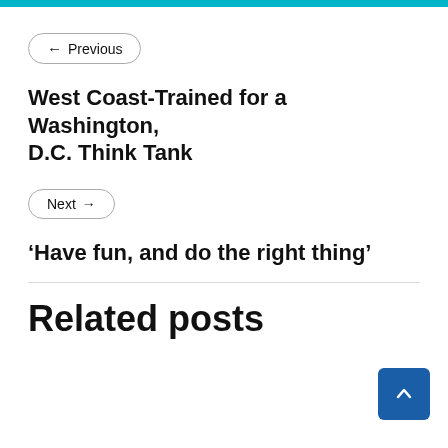← Previous
West Coast-Trained for a Washington, D.C. Think Tank
Next →
‘Have fun, and do the right thing’
Related posts